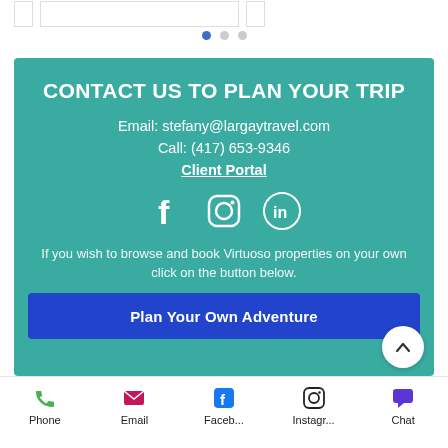[Figure (screenshot): Top area with partial card/slider elements and pagination dots]
CONTACT US TO PLAN YOUR TRIP
Email: stefany@largaytravel.com
Call: (917) 653-9346
Client Portal
[Figure (infographic): Social media icons: Facebook, Instagram, LinkedIn]
If you wish to browse and book Virtuoso properties on your own click on the button below.
Plan Your Own Adventure
[Figure (infographic): Bottom navigation bar with Phone, Email, Facebook, Instagram, Chat icons]